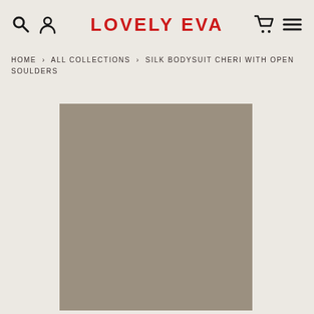LOVELY EVA
HOME › ALL COLLECTIONS › SILK BODYSUIT CHERI WITH OPEN SOULDERS
[Figure (photo): Product photo placeholder — solid taupe/khaki colored rectangle representing a silk bodysuit product image]